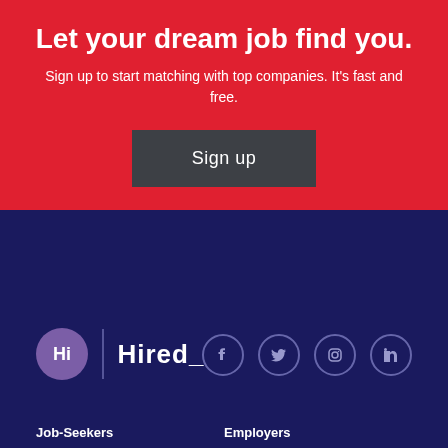Let your dream job find you.
Sign up to start matching with top companies. It's fast and free.
[Figure (other): Sign up button - dark grey rectangular button with white text 'Sign up']
[Figure (logo): Hired logo with purple 'Hi' circle, vertical divider, and 'Hired_' wordmark in white on dark navy background]
[Figure (other): Social media icons row: Facebook, Twitter, Instagram, LinkedIn - all circular outlined icons in light purple on dark navy]
Job-Seekers
Employers